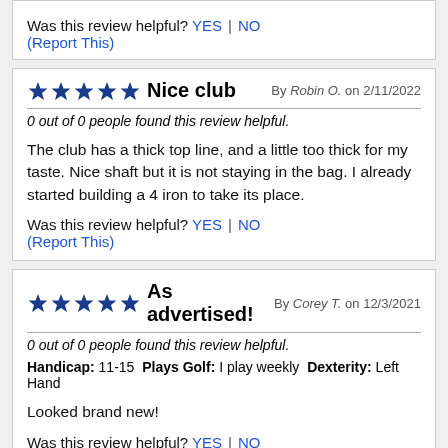Was this review helpful? YES | NO (Report This)
Nice club — By Robin O. on 2/11/2022
0 out of 0 people found this review helpful.
The club has a thick top line, and a little too thick for my taste. Nice shaft but it is not staying in the bag. I already started building a 4 iron to take its place.
Was this review helpful? YES | NO (Report This)
As advertised! — By Corey T. on 12/3/2021
0 out of 0 people found this review helpful.
Handicap: 11-15  Plays Golf: I play weekly  Dexterity: Left Hand
Looked brand new!
Was this review helpful? YES | NO